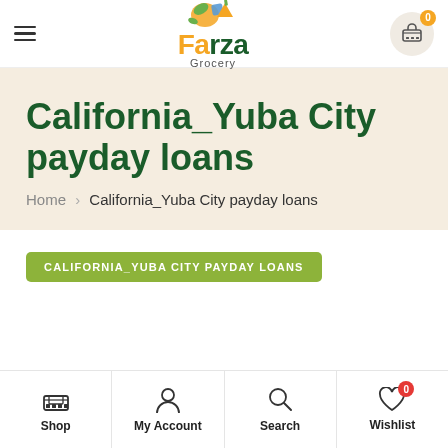[Figure (logo): Farza Grocery logo with colorful vegetables/fruits illustration and cart icon with badge showing 0]
California_Yuba City payday loans
Home › California_Yuba City payday loans
CALIFORNIA_YUBA CITY PAYDAY LOANS
[Figure (infographic): Bottom navigation bar with Shop, My Account, Search, and Wishlist icons; Wishlist has red badge with 0]